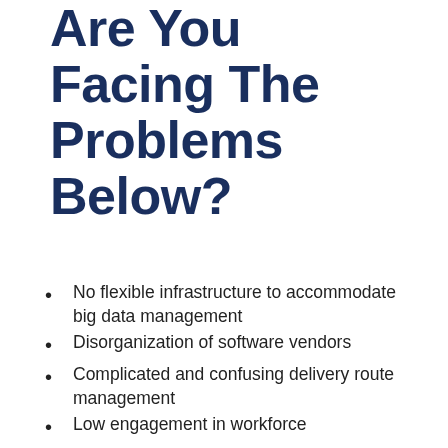Are You Facing The Problems Below?
No flexible infrastructure to accommodate big data management
Disorganization of software vendors
Complicated and confusing delivery route management
Low engagement in workforce
Inconsistent centralized data